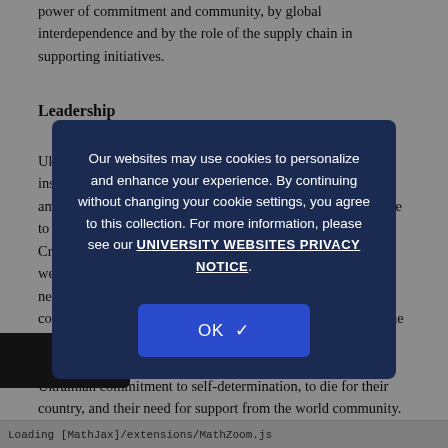power of commitment and community, by global interdependence and by the role of the supply chain in supporting initiatives.
Leadership
Ukraine's President Zelensky has emerged as a remarkable, inspirational leader. His early words ring out: "I need ammunition, not a ride," he responded when offered assistance to evacuate. His early words ring out early predicament. Crimean offensives, based on the assembled forces and weaponry on Putin's history in Crimea and elsewhere, have needed constant revision. Zelensky has consistently communicated on the world stage. He refused to leave Ukraine and has been in the streets in Ukraine and in the halls of government worldwide, consistently communicating the Ukrainian commitment to self-determination, to die for their country, and their need for support from the world community.
[Figure (screenshot): Cookie consent overlay modal on a dark navy background with text: 'Our websites may use cookies to personalize and enhance your experience. By continuing without changing your cookie settings, you agree to this collection. For more information, please see our UNIVERSITY WEBSITES PRIVACY NOTICE.' with an OK button with checkmark below.]